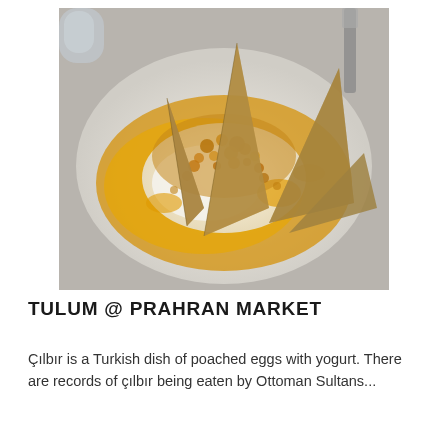[Figure (photo): A Turkish dish çılbır served on a white plate: poached eggs topped with bright orange-yellow butter sauce and crumbled spiced breadcrumbs, with several triangular crispy flatbread pieces standing upright in the center.]
TULUM @ PRAHRAN MARKET
Çılbır is a Turkish dish of poached eggs with yogurt. There are records of çılbır being eaten by Ottoman Sultans...